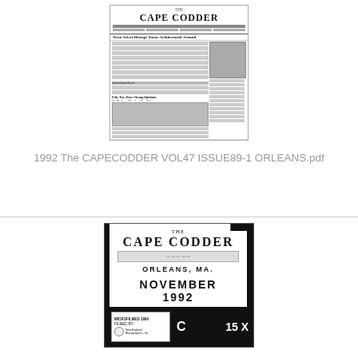[Figure (screenshot): Thumbnail image of a newspaper front page: The Cape Codder, showing multiple columns of text and a photograph of a building]
1992 The CAPECODDER VOL47 ISSUE89-1 ORLEANS.pdf
[Figure (photo): Microfilmed document card for The Cape Codder newspaper, Orleans MA, November 1992, with microfilmed 1994 label at bottom showing 'FILMED BY: New England Micrographics, Inc.' and '15 X']